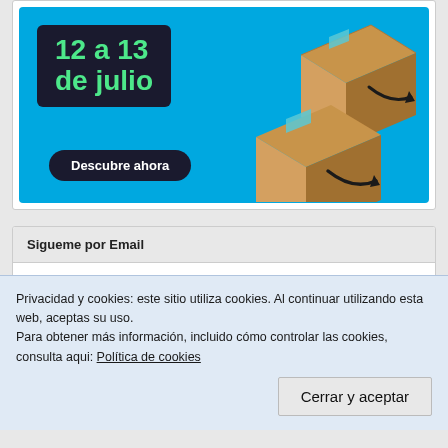[Figure (screenshot): Amazon Prime Day advertisement banner showing '12 a 13 de julio' text on dark background with Amazon delivery boxes on blue background and 'Descubre ahora' button]
Sigueme por Email
Introduce tu dirección de correo electrónico para seguir este
Privacidad y cookies: este sitio utiliza cookies. Al continuar utilizando esta web, aceptas su uso.
Para obtener más información, incluido cómo controlar las cookies, consulta aqui: Política de cookies
Cerrar y aceptar